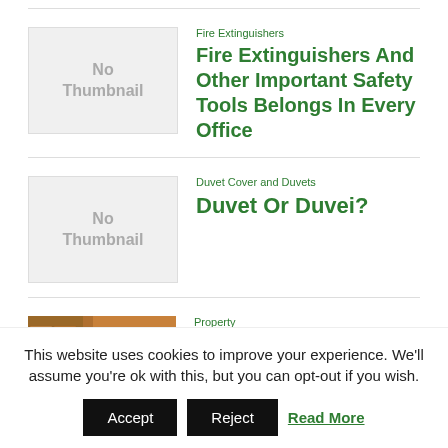[Figure (illustration): No Thumbnail placeholder image for Fire Extinguishers article]
Fire Extinguishers
Fire Extinguishers And Other Important Safety Tools Belongs In Every Office
[Figure (illustration): No Thumbnail placeholder image for Duvet Or Duvei? article]
Duvet Cover and Duvets
Duvet Or Duvei?
[Figure (photo): Photo of a person in green shirt working on a brick wall/fireplace installation]
Property
Environmentally Friendly Home Heaters
This website uses cookies to improve your experience. We'll assume you're ok with this, but you can opt-out if you wish.